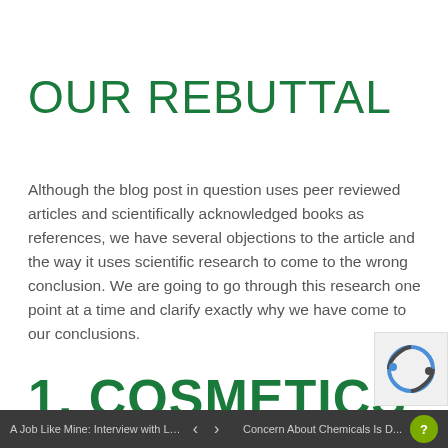OUR REBUTTAL
Although the blog post in question uses peer reviewed articles and scientifically acknowledged books as references, we have several objections to the article and the way it uses scientific research to come to the wrong conclusion. We are going to go through this research one point at a time and clarify exactly why we have come to our conclusions.
1. COSMETICS ARE
NOT
A Job Like Mine: Interview with Lorr... < > Concern About Chemicals Is D... ...